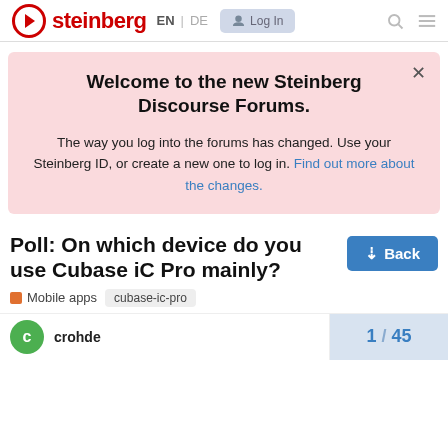steinberg EN | DE  Log In
Welcome to the new Steinberg Discourse Forums.
The way you log into the forums has changed. Use your Steinberg ID, or create a new one to log in. Find out more about the changes.
Poll: On which device do you use Cubase iC Pro mainly?
Mobile apps  cubase-ic-pro
crohde
1 / 45